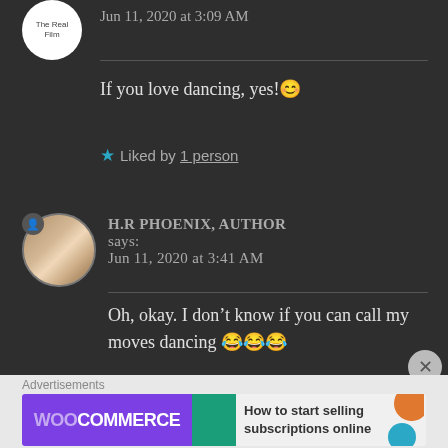Jun 11, 2020 at 3:09 AM
If you love dancing, yes! 😊
★ Liked by 1 person
H.R PHOENIX, AUTHOR says:
Jun 11, 2020 at 3:41 AM
Oh, okay. I don't know if you can call my moves dancing 😂😂😂
Advertisements
[Figure (screenshot): WooCommerce advertisement banner: 'How to start selling subscriptions online']